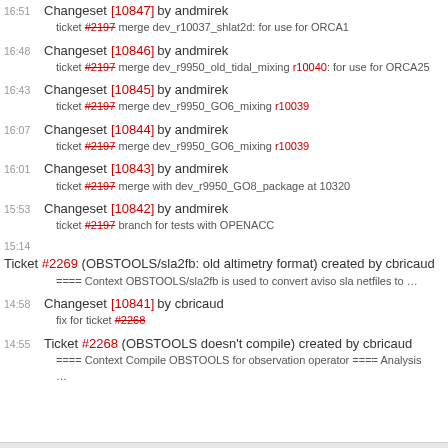16:51 Changeset [10847] by andmirek
  ticket #2197 merge dev_r10037_shlat2d: for use for ORCA1
16:48 Changeset [10846] by andmirek
  ticket #2197 merge dev_r9950_old_tidal_mixing r10040: for use for ORCA25
16:43 Changeset [10845] by andmirek
  ticket #2197 merge dev_r9950_GO6_mixing r10039
16:07 Changeset [10844] by andmirek
  ticket #2197 merge dev_r9950_GO6_mixing r10039
16:01 Changeset [10843] by andmirek
  ticket #2197 merge with dev_r9950_GO8_package at 10320
15:53 Changeset [10842] by andmirek
  ticket #2197 branch for tests with OPENACC
15:14 Ticket #2269 (OBSTOOLS/sla2fb: old altimetry format) created by cbricaud
  ==== Context OBSTOOLS/sla2fb is used to convert aviso sla netfiles to …
14:58 Changeset [10841] by cbricaud
  fix for ticket #2268
14:55 Ticket #2268 (OBSTOOLS doesn't compile) created by cbricaud
  ==== Context Compile OBSTOOLS for observation operator ==== Analysis
  ...